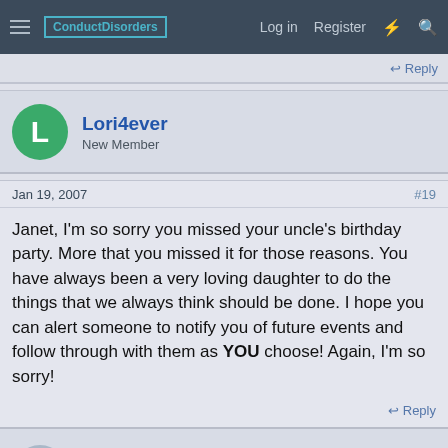ConductDisorders — Log in | Register
Reply
Lori4ever
New Member
Jan 19, 2007   #19
Janet, I'm so sorry you missed your uncle's birthday party. More that you missed it for those reasons. You have always been a very loving daughter to do the things that we always think should be done. I hope you can alert someone to notify you of future events and follow through with them as YOU choose! Again, I'm so sorry!
Reply
1905
Well-Known Member